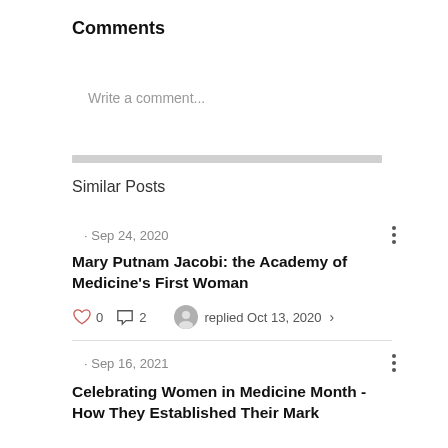Comments
Write a comment...
Similar Posts
· Sep 24, 2020
Mary Putnam Jacobi: the Academy of Medicine's First Woman
0  2  replied Oct 13, 2020
· Sep 16, 2021
Celebrating Women in Medicine Month - How They Established Their Mark